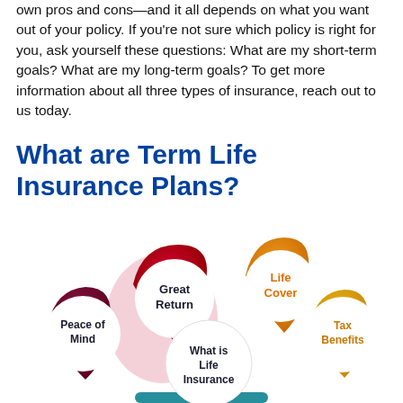own pros and cons—and it all depends on what you want out of your policy. If you're not sure which policy is right for you, ask yourself these questions: What are my short-term goals? What are my long-term goals? To get more information about all three types of insurance, reach out to us today.
What are Term Life Insurance Plans?
[Figure (infographic): Circular infographic showing four labeled circles with colored teardrop/pin shapes arranged around a central circle. Top-left: red/crimson pin with white circle labeled 'Great Return'. Top-right: orange pin with white circle labeled 'Life Cover'. Bottom-left: dark red/maroon pin with white circle labeled 'Peace of Mind'. Bottom-right: gold/yellow pin with white circle labeled 'Tax Benefits'. Center white circle labeled 'What is Life Insurance'.]